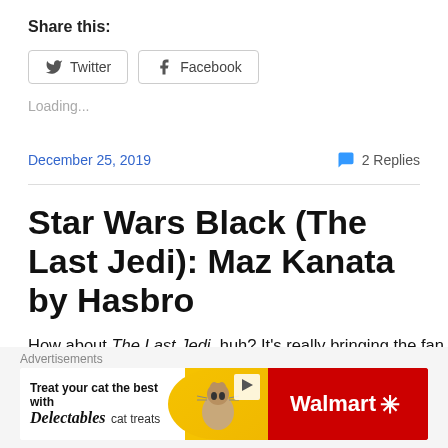Share this:
Twitter  Facebook
Loading...
December 25, 2019
2 Replies
Star Wars Black (The Last Jedi): Maz Kanata by Hasbro
How about The Last Jedi, huh? It’s really bringing the fan
Advertisements
[Figure (other): Walmart Delectables cat treats advertisement banner]